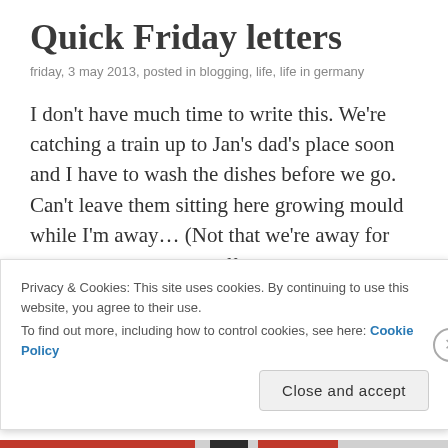Quick Friday letters
friday, 3 may 2013, posted in blogging, life, life in germany
I don't have much time to write this. We're catching a train up to Jan's dad's place soon and I have to wash the dishes before we go. Can't leave them sitting here growing mould while I'm away… (Not that we're away for long. I took two days off to go visit Jan's family, only for him to then reveal that there was no point in going before today… yesterday was a total waste of a day's
Privacy & Cookies: This site uses cookies. By continuing to use this website, you agree to their use.
To find out more, including how to control cookies, see here: Cookie Policy
Close and accept